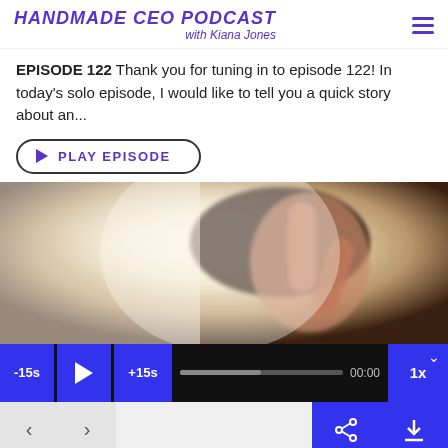HANDMADE CEO PODCAST with Kiana Jones
EPISODE 122 Thank you for tuning in to episode 122! In today's solo episode, I would like to tell you a quick story about an...
PLAY EPISODE
[Figure (photo): A blurred photo of a person holding up two fingers (peace/victory sign) against a bright background]
-15s | Play | +15s | 00:00 | 1x
< > Share Download